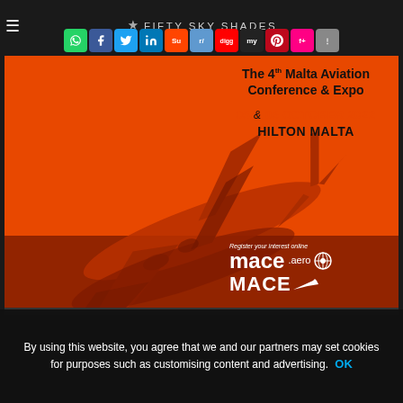FIFTY SKY SHADES
[Figure (screenshot): Website header with hamburger menu, Fifty Sky Shades logo with airplane icon, and social media share buttons row (WhatsApp, Facebook, Twitter, LinkedIn, StumbleUpon, Reddit, Digg, MySpace, Pinterest, Flipboard, Share)]
[Figure (photo): Advertisement banner for The 4th Malta Aviation Conference & Expo, 05 & 06 October 2022, Hilton Malta. Orange background with dark airplane silhouette. Mace.aero branding at bottom right.]
By using this website, you agree that we and our partners may set cookies for purposes such as customising content and advertising. OK